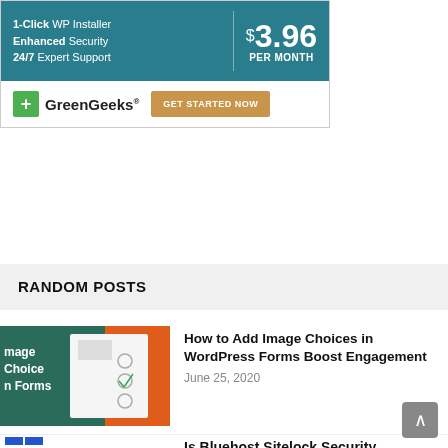[Figure (screenshot): GreenGeeks web hosting advertisement banner showing '1-Click WP Installer, Enhanced Security, 24/7 Expert Support' and '$3.96 PER MONTH' price with GET STARTED NOW button]
RANDOM POSTS
[Figure (screenshot): Thumbnail for WordPress form image choices article showing form with radio buttons and image selections]
How to Add Image Choices in WordPress Forms Boost Engagement
June 25, 2020
[Figure (screenshot): Thumbnail for Bluehost Sitelock Security article showing Bluehost logo and BLUEHOST SITELOCK SECURITY text]
Is Bluehost Sitelock Security Essentials Worth It? Do You Need It? (Review)
December 29, 2021
[Figure (screenshot): Thumbnail for Make a Logo article showing black background with 'Make Logo' text and teal YOUR LOGO HERE panel]
How to Make a Logo For Free (Step by Step)
August 24, 2020